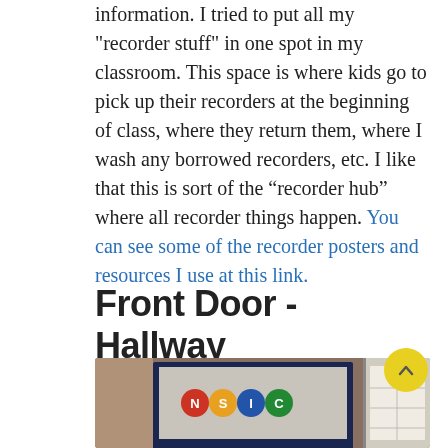information.  I tried to put all my "recorder stuff" in one spot in my classroom.  This space is where kids go to pick up their recorders at the beginning of class, where they return them, where I wash any borrowed recorders, etc.  I like that this is sort of the “recorder hub” where all recorder things happen. You can see some of the recorder posters and resources I use at this link.
Front Door - Hallway
[Figure (photo): Photograph of a classroom front door hallway area showing a framed bulletin board with colorful music letters/signs on a wall and a doorway visible to the right.]